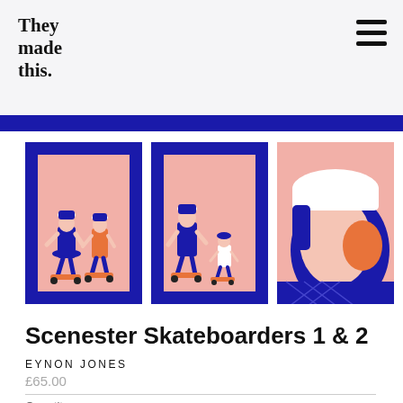They made this.
[Figure (illustration): Four artwork panels showing skateboarders in blue and pink illustration style. First two panels are framed with a dark blue border showing two skateboarders (adult and child). Third and fourth panels show close-up portrait illustrations of skaters wearing caps.]
Scenester Skateboarders 1 & 2
EYNON JONES
£65.00
Quantity